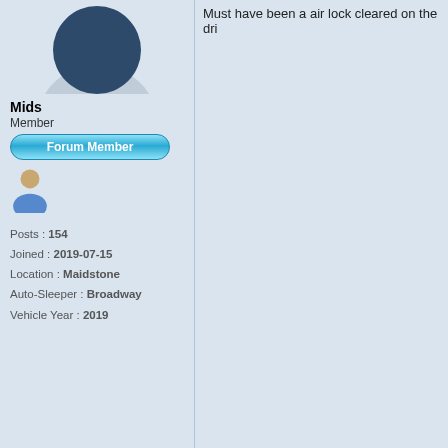[Figure (illustration): User avatar top portion showing dark blue rounded shape (user profile silhouette)]
Mids
Member
[Figure (illustration): Forum Member blue badge button]
[Figure (illustration): Generic user person icon]
Posts : 154
Joined : 2019-07-15
Location : Maidstone
Auto-Sleeper : Broadway
Vehicle Year : 2019
[Figure (illustration): LIKE button with thumbs up icon]
Re: No water
by Gromit Sun Jul 05, 2020 11:55 am
[Figure (illustration): Gromit cartoon dog avatar image]
Gromit
Donator
[Figure (illustration): Forum Supporter red badge button]
[Figure (illustration): Generic user person icon]
Mids wrote:
Hi to everyone who gave me advice.
working. Must have been a air lock cl
Good to hear that. I'm desperately trying not